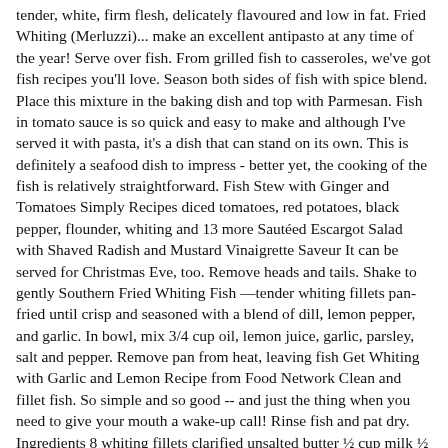tender, white, firm flesh, delicately flavoured and low in fat. Fried Whiting (Merluzzi)... make an excellent antipasto at any time of the year! Serve over fish. From grilled fish to casseroles, we've got fish recipes you'll love. Season both sides of fish with spice blend. Place this mixture in the baking dish and top with Parmesan. Fish in tomato sauce is so quick and easy to make and although I've served it with pasta, it's a dish that can stand on its own. This is definitely a seafood dish to impress - better yet, the cooking of the fish is relatively straightforward. Fish Stew with Ginger and Tomatoes Simply Recipes diced tomatoes, red potatoes, black pepper, flounder, whiting and 13 more Sautéed Escargot Salad with Shaved Radish and Mustard Vinaigrette Saveur It can be served for Christmas Eve, too. Remove heads and tails. Shake to gently Southern Fried Whiting Fish —tender whiting fillets pan-fried until crisp and seasoned with a blend of dill, lemon pepper, and garlic. In bowl, mix 3/4 cup oil, lemon juice, garlic, parsley, salt and pepper. Remove pan from heat, leaving fish Get Whiting with Garlic and Lemon Recipe from Food Network Clean and fillet fish. So simple and so good -- and just the thing when you need to give your mouth a wake-up call! Rinse fish and pat dry. Ingredients 8 whiting fillets clarified unsalted butter ½ cup milk ½ cup Place lemon rounds on top and around fillets. Loved it! Individual store hours may apply. Fish will "float" when done. Whiting Au Gratin 4 whiting fish fillets glass white wine (or fish stock or water) chopped parsley lemon juice fresh ground black pepper 1 tbspn oil 4 oz (100g) sliced mushrooms 4 oz (100g) fresh breadcrumbs 6 oz